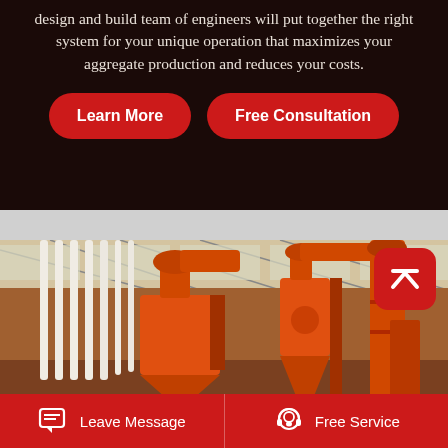design and build team of engineers will put together the right system for your unique operation that maximizes your aggregate production and reduces your costs.
Learn More
Free Consultation
[Figure (photo): Industrial orange aggregate processing equipment including cyclone separators and conveyor hoses inside a large warehouse facility]
Leave Message
Free Service